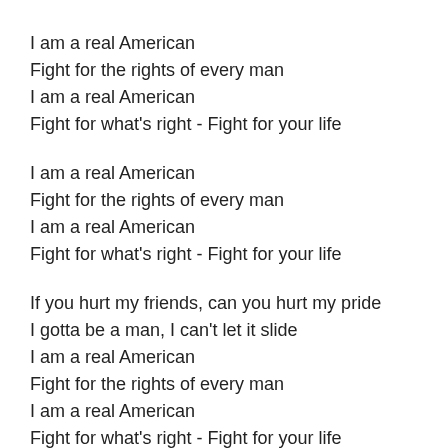I am a real American
Fight for the rights of every man
I am a real American
Fight for what's right - Fight for your life
I am a real American
Fight for the rights of every man
I am a real American
Fight for what's right - Fight for your life
If you hurt my friends, can you hurt my pride
I gotta be a man, I can't let it slide
I am a real American
Fight for the rights of every man
I am a real American
Fight for what's right - Fight for your life